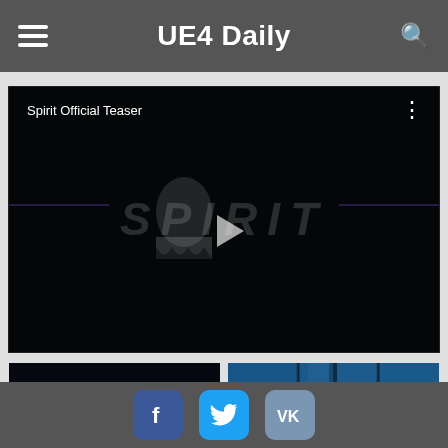UE4 Daily
[Figure (screenshot): Embedded YouTube-style video player showing 'Spirit Official Teaser' — a dark video frame with the word SPIRIT faintly visible in the background and a play button in the center. Three-dot menu icon in top right corner.]
[Figure (screenshot): Thumbnail of Spirit game teaser — dark background with glowing green SPIRIT logo text and a ghost icon. A red italic VIDEO badge overlaid on the image.]
[Figure (screenshot): Thumbnail of a blue-tinted indoor scene showing glass doors/windows of a building.]
Social media links: Facebook, Twitter, VK